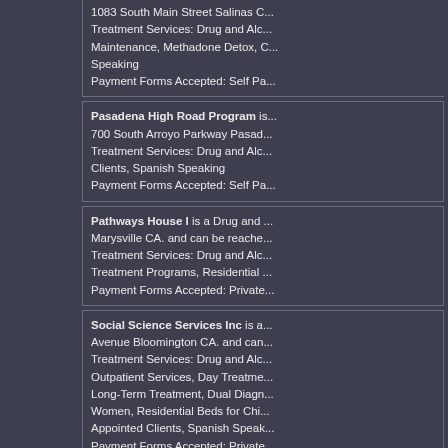1083 South Main Street Salinas CA. Treatment Services: Drug and Alcohol, Maintenance, Methadone Detox, Speaking. Payment Forms Accepted: Self Pa...
Pasadena High Road Program is... 700 South Arroyo Parkway Pasad... Treatment Services: Drug and Alc... Clients, Spanish Speaking. Payment Forms Accepted: Self Pa...
Pathways House I is a Drug and... Marysville CA. and can be reache... Treatment Services: Drug and Alc... Treatment Programs, Residential... Payment Forms Accepted: Private...
Social Science Services Inc is a... Avenue Bloomington CA. and can... Treatment Services: Drug and Alc... Outpatient Services, Day Treatme... Long-Term Treatment, Dual Diagn... Women, Residential Beds for Chi... Appointed Clients, Spanish Speak... Payment Forms Accepted: Private...
Pine Ridge Outpatient Center is... 1881 Commercenter East San Be... Treatment Services: Drug and Al...